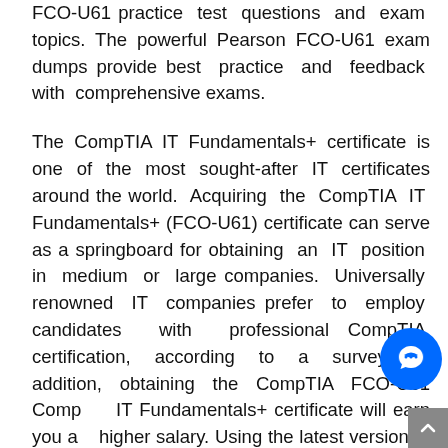FCO-U61 practice test questions and exam topics. The powerful Pearson FCO-U61 exam dumps provide best practice and feedback with comprehensive exams.
The CompTIA IT Fundamentals+ certificate is one of the most sought-after IT certificates around the world. Acquiring the CompTIA IT Fundamentals+ (FCO-U61) certificate can serve as a springboard for obtaining an IT position in medium or large companies. Universally renowned IT companies prefer to employ candidates with professional CompTIA certification, according to a survey. In addition, obtaining the CompTIA FCO-U61 CompTIA IT Fundamentals+ certificate will earn you a higher salary. Using the latest version of the reference book for the (FCO-U61) CompTIA IT Fundamentals+